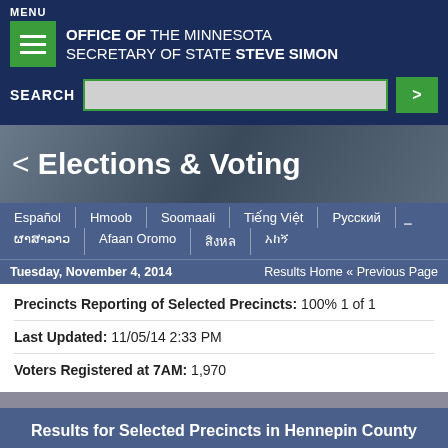MENU
OFFICE OF THE MINNESOTA SECRETARY OF STATE STEVE SIMON
SEARCH
< Elections & Voting
Español | Hmoob | Soomaali | Tiếng Việt | Русский | ผาສາລາວ | Afaan Oromo
Tuesday, November 4, 2014   Results Home « Previous Page
Precincts Reporting of Selected Precincts: 100% 1 of 1
Last Updated: 11/05/14 2:33 PM
Voters Registered at 7AM: 1,970
Results for Selected Precincts in Hennepin County